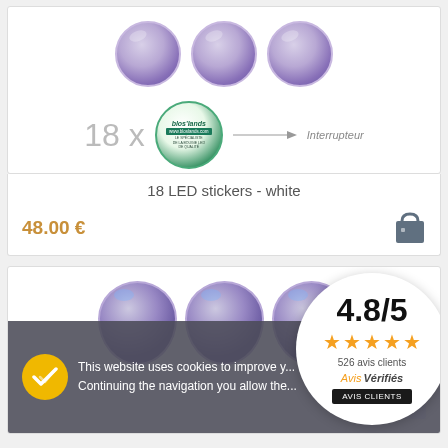[Figure (photo): Product image showing 6 circular LED stickers with purple/lavender diamond pattern and a badge with brand logo, arrow pointing to 'Interrupteur' label. Text shows '18 x' indicating quantity.]
18 LED stickers - white
48.00 €
[Figure (photo): Second product card showing purple LED sticker rounds from below, partially visible]
This website uses cookies to improve your experience. Continuing the navigation you allow the use of cookies.
OK
4.8/5
526 avis clients
Avis Vérifiés
AVIS CLIENTS